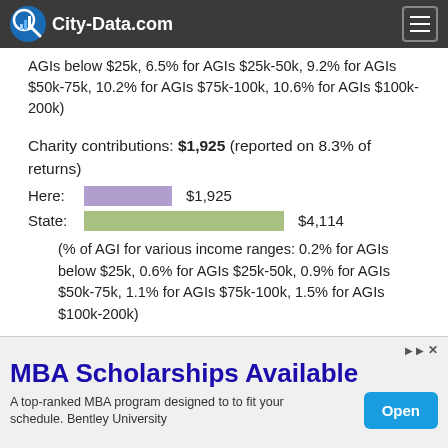City-Data.com
AGIs below $25k, 6.5% for AGIs $25k-50k, 9.2% for AGIs $50k-75k, 10.2% for AGIs $75k-100k, 10.6% for AGIs $100k-200k)
Charity contributions: $1,925 (reported on 8.3% of returns)
Here:   $1,925
State:   $4,114
(% of AGI for various income ranges: 0.2% for AGIs below $25k, 0.6% for AGIs $25k-50k, 0.9% for AGIs $50k-75k, 1.1% for AGIs $75k-100k, 1.5% for AGIs $100k-200k)
Taxes paid: $3,037 (reported on 10.9% of returns)
Here:   $3,037
MBA Scholarships Available
A top-ranked MBA program designed to to fit your schedule. Bentley University